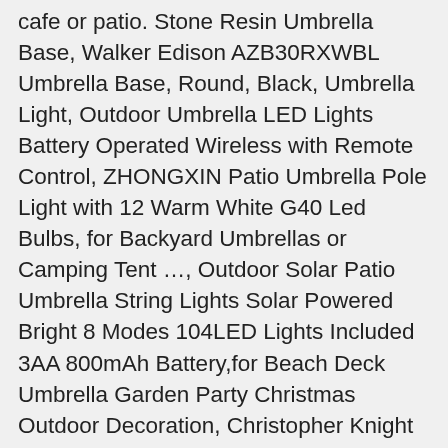cafe or patio. Stone Resin Umbrella Base, Walker Edison AZB30RXWBL Umbrella Base, Round, Black, Umbrella Light, Outdoor Umbrella LED Lights Battery Operated Wireless with Remote Control, ZHONGXIN Patio Umbrella Pole Light with 12 Warm White G40 Led Bulbs, for Backyard Umbrellas or Camping Tent …, Outdoor Solar Patio Umbrella String Lights Solar Powered Bright 8 Modes 104LED Lights Included 3AA 800mAh Battery,for Beach Deck Umbrella Garden Party Christmas Outdoor Decoration, Christopher Knight Home Bahulu 66lbs Resin and Iron Square Umbrella Base, Brown, Keter Corfu Coffee Table Modern All Weather Outdoor Patio Garden Backyard Furniture, Charcoal, Keter Rio 3 Piece Resin Wicker Patio Furniture Set with Side Table and Outdoor Chairs, Whiskey Brown & Circa 37